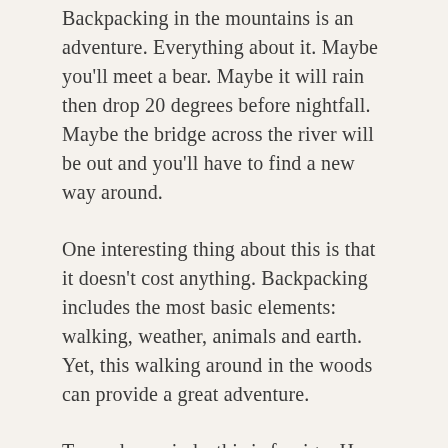Backpacking in the mountains is an adventure. Everything about it. Maybe you'll meet a bear. Maybe it will rain then drop 20 degrees before nightfall. Maybe the bridge across the river will be out and you'll have to find a new way around.
One interesting thing about this is that it doesn't cost anything. Backpacking includes the most basic elements: walking, weather, animals and earth. Yet, this walking around in the woods can provide a great adventure.
To modern minds, this is foreign. How can something that is simple, free and basic, be a great adventure?
I say because it brings us nearer to God. When we walk around in the woods, we realize how subject we are to our surroundings. It's foreign to us modern folk because we have become really good at insulating ourselves from nature and our surroundings.
This insulation, ironically, is why we have so much health trouble. But that isn't what this entry is about. It's about walking in the woods as a way to reconnect with God.